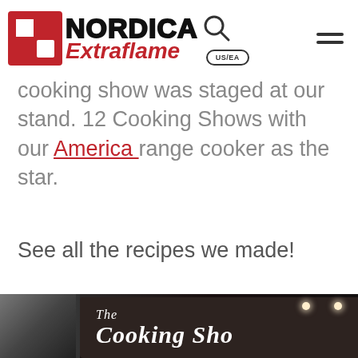[Figure (logo): Nordica Extraflame logo with red square icon, bold NORDICA text, red italic Extraflame text, and an exclusive USA/EA badge]
cooking show was staged at our stand. 12 Cooking Shows with our America range cooker as the star.
See all the recipes we made!
[Figure (photo): Dark interior photo of a trade show booth with an illuminated sign reading 'The Cooking Sho...' in white cursive lettering on a dark background, with spotlight lights]